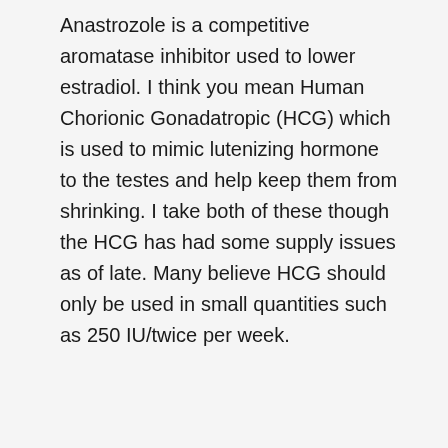Anastrozole is a competitive aromatase inhibitor used to lower estradiol. I think you mean Human Chorionic Gonadatropic (HCG) which is used to mimic lutenizing hormone to the testes and help keep them from shrinking. I take both of these though the HCG has had some supply issues as of late. Many believe HCG should only be used in small quantities such as 250 IU/twice per week.